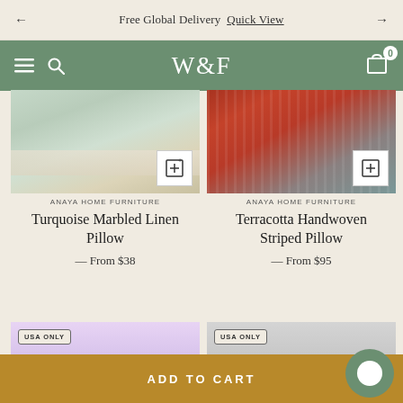Free Global Delivery  Quick View
W&F  navigation bar with menu, search and cart icons
[Figure (photo): Product image of a Turquoise Marbled Linen Pillow on a bed with wishlist/add icon overlay]
ANAYA HOME FURNITURE
Turquoise Marbled Linen Pillow
— From $38
[Figure (photo): Product image of a Terracotta Handwoven Striped Pillow with wishlist/add icon overlay]
ANAYA HOME FURNITURE
Terracotta Handwoven Striped Pillow
— From $95
[Figure (photo): Bottom product card with USA ONLY badge, lavender/floral product image, partially cut off]
[Figure (photo): Bottom product card with USA ONLY badge, grey/neutral lamp product image, partially cut off]
ADD TO CART